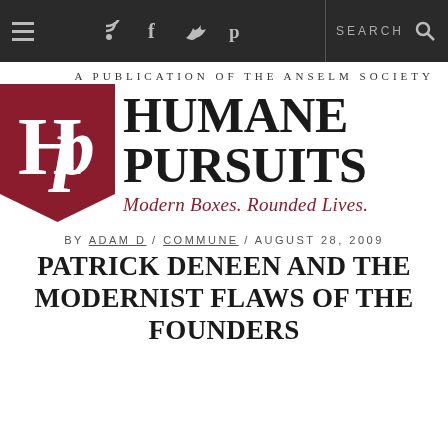Navigation bar with hamburger menu, RSS, Facebook, Twitter, Pinterest icons, divider, SEARCH text and search icon
A PUBLICATION OF THE ANSELM SOCIETY
[Figure (logo): Humane Pursuits logo: dark red pennant badge with HP monogram letters, next to large serif text HUMANE PURSUITS and italic red tagline Modern Boxes. Rounded Lives.]
BY ADAM D / COMMUNE / AUGUST 28, 2009
PATRICK DENEEN AND THE MODERNIST FLAWS OF THE FOUNDERS